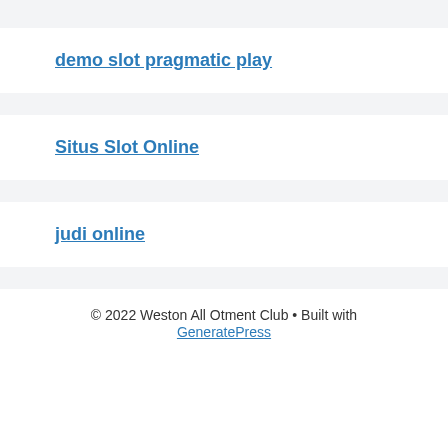demo slot pragmatic play
Situs Slot Online
judi online
© 2022 Weston All Otment Club • Built with GeneratePress